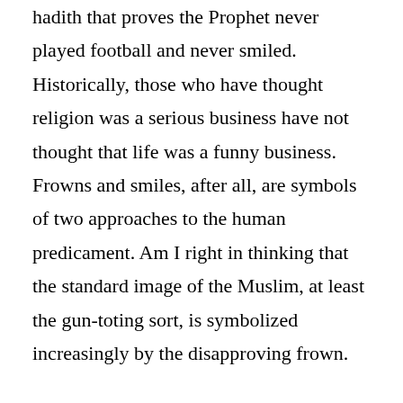hadith that proves the Prophet never played football and never smiled. Historically, those who have thought religion was a serious business have not thought that life was a funny business. Frowns and smiles, after all, are symbols of two approaches to the human predicament. Am I right in thinking that the standard image of the Muslim, at least the gun-toting sort, is symbolized increasingly by the disapproving frown.

Humour as a means of stress-relief is a structured activity.The joke is its highest form, and the self-deprecating joke, whose payoff depends on a religious or ethnic punchline (Yiddish, “zinger”) made at the